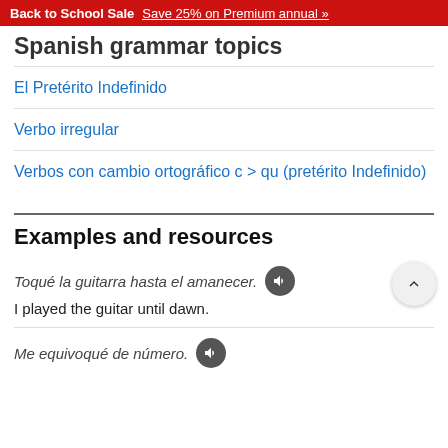Back to School Sale  Save 25% on Premium annual »
Spanish grammar topics
El Pretérito Indefinido
Verbo irregular
Verbos con cambio ortográfico c > qu (pretérito Indefinido)
Examples and resources
Toqué la guitarra hasta el amanecer.
I played the guitar until dawn.
Me equivoqué de número.